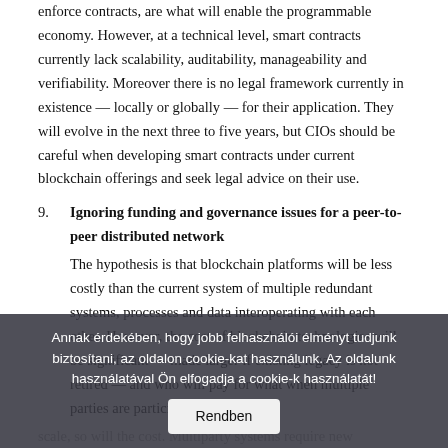enforce contracts, are what will enable the programmable economy. However, at a technical level, smart contracts currently lack scalability, auditability, manageability and verifiability. Moreover there is no legal framework currently in existence — locally or globally — for their application. They will evolve in the next three to five years, but CIOs should be careful when developing smart contracts under current blockchain offerings and seek legal advice on their use.
9. Ignoring funding and governance issues for a peer-to-peer distributed network
The hypothesis is that blockchain platforms will be less costly than the current system of multiple redundant systems, processes and data interoperating with each other. However, the cost of blockchain technologies will be significant — made larger if existing legacy is not retired — and who will pay for what when multiple parties are participating remains
scale, so will the cost. Multiparty systems require new approaches to governance, secu...omics that raise
Annak érdekében, hogy jobb felhasználói élményt tudjunk biztosítani, az oldalon cookie-kat használunk. Az oldalunk használatával Ön elfogadja a cookie-k használatát!
Rendben